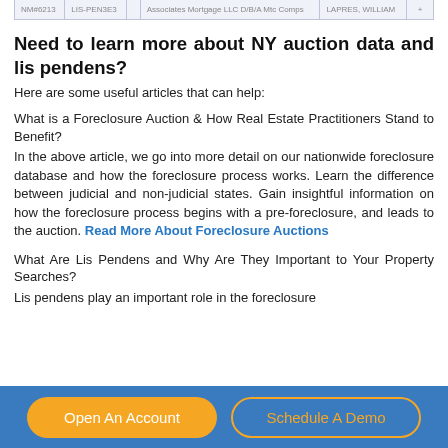|  |  |  |  |  |  |
| --- | --- | --- | --- | --- | --- |
| NM#6213 | LIS-PEN3E3 |  | Associates Mortgage LLC D/B/A Mtc Comps | LAPRES, WILLIAM | + |
Need to learn more about NY auction data and lis pendens?
Here are some useful articles that can help:
What is a Foreclosure Auction & How Real Estate Practitioners Stand to Benefit?
In the above article, we go into more detail on our nationwide foreclosure database and how the foreclosure process works. Learn the difference between judicial and non-judicial states. Gain insightful information on how the foreclosure process begins with a pre-foreclosure, and leads to the auction. Read More About Foreclosure Auctions
What Are Lis Pendens and Why Are They Important to Your Property Searches?
Lis pendens play an important role in the foreclosure
Open An Account   Schedule A Demo